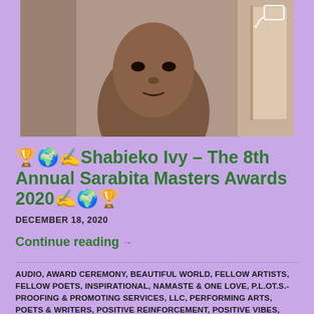[Figure (photo): Screenshot of a video call or recording showing a person's face, cropped at forehead level, with a cast-screen icon visible in the top-right corner.]
🏆🌍✍️Shabieko Ivy – The 8th Annual Sarabita Masters Awards 2020✍️🌍🏆
DECEMBER 18, 2020
Continue reading →
AUDIO, AWARD CEREMONY, BEAUTIFUL WORLD, FELLOW ARTISTS, FELLOW POETS, INSPIRATIONAL, NAMASTE & ONE LOVE, P.L.OT.S.-PROOFING & PROMOTING SERVICES, LLC, PERFORMING ARTS, POETS & WRITERS, POSITIVE REINFORCEMENT, POSITIVE VIBES, PROMOTING OF OTHERS, PROMOTIONS, PUBLICATIONS, THE SARABITA MASTERS